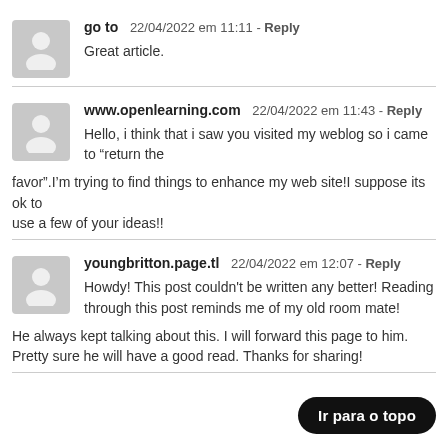go to  22/04/2022 em 11:11 - Reply
Great article.
www.openlearning.com  22/04/2022 em 11:43 - Reply
Hello, i think that i saw you visited my weblog so i came to “return the favor”.I’m trying to find things to enhance my web site!I suppose its ok to use a few of your ideas!!
youngbritton.page.tl  22/04/2022 em 12:07 - Reply
Howdy! This post couldn't be written any better! Reading through this post reminds me of my old room mate! He always kept talking about this. I will forward this page to him. Pretty sure he will have a good read. Thanks for sharing!
Ir para o topo